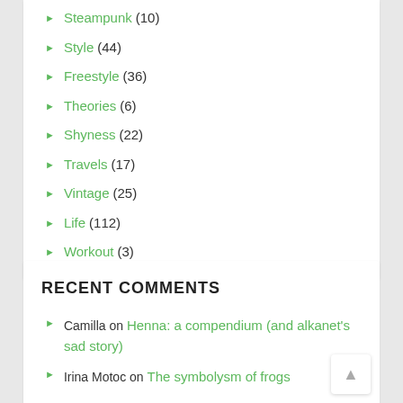Steampunk (10)
Style (44)
Freestyle (36)
Theories (6)
Shyness (22)
Travels (17)
Vintage (25)
Life (112)
Workout (3)
RECENT COMMENTS
Camilla on Henna: a compendium (and alkanet's sad story)
Irina Motoc on The symbolysm of frogs
Rina on In praise of the Gamma man